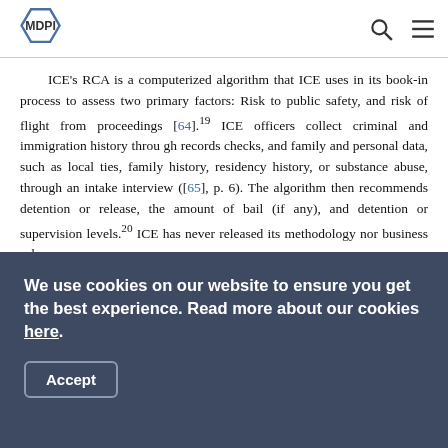MDPI
ICE's RCA is a computerized algorithm that ICE uses in its book-in process to assess two primary factors: Risk to public safety, and risk of flight from proceedings [64].19 ICE officers collect criminal and immigration history throu gh records checks, and family and personal data, such as local ties, family history, residency history, or substance abuse, through an intake interview ([65], p. 6). The algorithm then recommends detention or release, the amount of bail (if any), and detention or supervision levels.20 ICE has never released its methodology nor business rules.
ICE conducts the RCA on all noncitizens that enter its custody, including those apprehended by other DHS agencies or
We use cookies on our website to ensure you get the best experience. Read more about our cookies here.
Accept